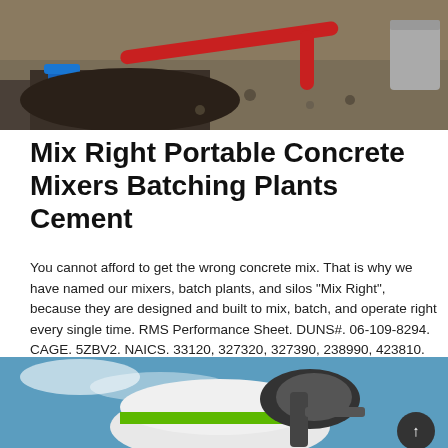[Figure (photo): Construction site with red pipes and gravel, blue bucket visible in foreground]
Mix Right Portable Concrete Mixers Batching Plants Cement
You cannot afford to get the wrong concrete mix. That is why we have named our mixers, batch plants, and silos "Mix Right", because they are designed and built to mix, batch, and operate right every single time. RMS Performance Sheet. DUNS#. 06-109-8294. CAGE. 5ZBV2. NAICS. 33120, 327320, 327390, 238990, 423810.
[Figure (photo): Concrete mixer truck with green and white branding against blue sky]